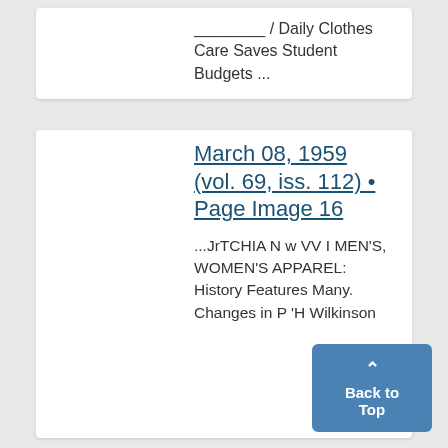________ / Daily Clothes Care Saves Student Budgets ...
March 08, 1959 (vol. 69, iss. 112) • Page Image 16
...JrTCHIA N w VV I MEN'S, WOMEN'S APPAREL: History Features Many. Changes in P 'H Wilkinson
Back to Top